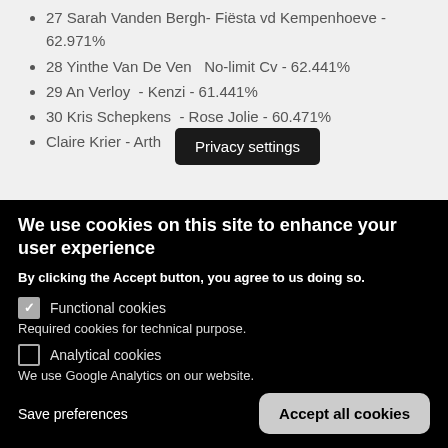27 Sarah Vanden Bergh- Fiësta vd Kempenhoeve - 62.971%
28 Yinthe Van De Ven - No-limit Cv - 62.441%
29 An Verloy - Kenzi - 61.441%
30 Kris Schepkens - Rose Jolie - 60.471%
Claire Krier - Arth...
[Figure (screenshot): Privacy settings tooltip overlay on dark background]
We use cookies on this site to enhance your user experience
By clicking the Accept button, you agree to us doing so.
Functional cookies
Required cookies for technical purpose.
Analytical cookies
We use Google Analytics on our website.
Save preferences
Accept all cookies